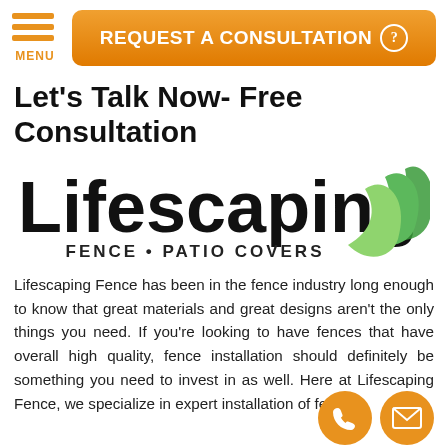REQUEST A CONSULTATION
Let's Talk Now- Free Consultation
[Figure (logo): Lifescaping Fence and Patio Covers logo with green leaf graphic]
Lifescaping Fence has been in the fence industry long enough to know that great materials and great designs aren't the only things you need. If you're looking to have fences that have overall high quality, fence installation should definitely be something you need to invest in as well. Here at Lifescaping Fence, we specialize in expert installation of fences.
We want to know what your fencing needs are and how we